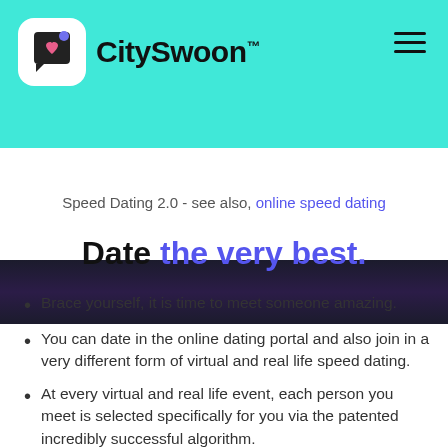CitySwoon™
[Figure (photo): Dark photo strip showing people at a speed dating event]
Speed Dating 2.0 - see also, online speed dating
Date the very best.
Brace yourself, it is time to meet someone amazing.
You can date in the online dating portal and also join in a very different form of virtual and real life speed dating.
At every virtual and real life event, each person you meet is selected specifically for you via the patented incredibly successful algorithm.
95% of participants find one or more people who